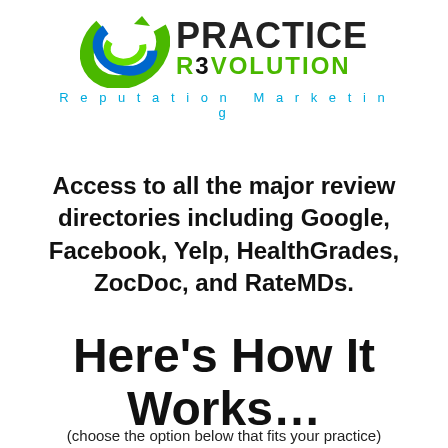[Figure (logo): Practice Revolution Reputation Marketing logo with blue-green spiral graphic and stylized text]
Access to all the major review directories including Google, Facebook, Yelp, HealthGrades, ZocDoc, and RateMDs.
Here's How It Works...
(choose the option below that fits your practice)